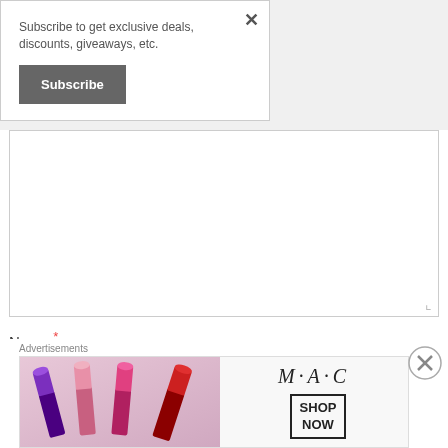Subscribe to get exclusive deals, discounts, giveaways, etc.
Subscribe
Name *
Email *
Advertisements